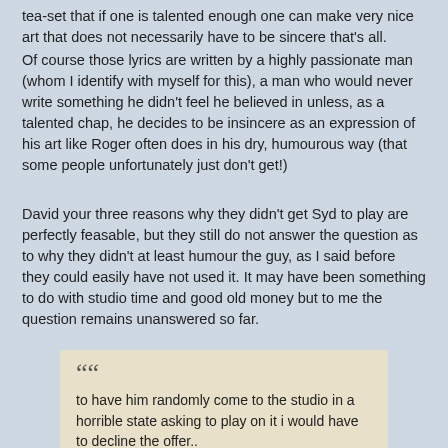tea-set that if one is talented enough one can make very nice art that does not necessarily have to be sincere that's all.
Of course those lyrics are written by a highly passionate man (whom I identify with myself for this), a man who would never write something he didn't feel he believed in unless, as a talented chap, he decides to be insincere as an expression of his art like Roger often does in his dry, humourous way (that some people unfortunately just don't get!)
David your three reasons why they didn't get Syd to play are perfectly feasable, but they still do not answer the question as to why they didn't at least humour the guy, as I said before they could easily have not used it. It may have been something to do with studio time and good old money but to me the question remains unanswered so far.
to have him randomly come to the studio in a horrible state asking to play on it i would have to decline the offer..
Yes it may be that they had a similar feeling or were too shocked to do anything else or just felt it inappropriate, isn't it interesting that here they were rejecting the very person they were supposed to be saluting?
jamming with them would probably not be the first thing that comes in